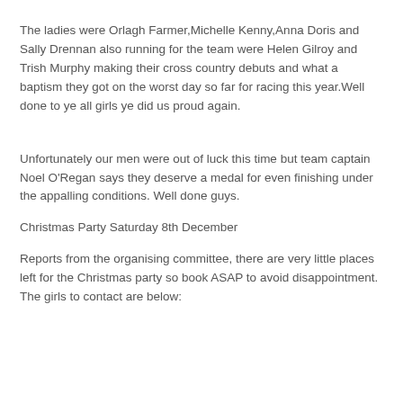The ladies were Orlagh Farmer,Michelle Kenny,Anna Doris and Sally Drennan also running for the team were Helen Gilroy and Trish Murphy making their cross country debuts and what a baptism they got on the worst day so far for racing this year.Well done to ye all girls ye did us proud again.
Unfortunately our men were out of luck this time but team captain Noel O'Regan says they deserve a medal for even finishing under the appalling conditions. Well done guys.
Christmas Party Saturday 8th December
Reports from the organising committee, there are very little places left for the Christmas party so book ASAP to avoid disappointment. The girls to contact are below: